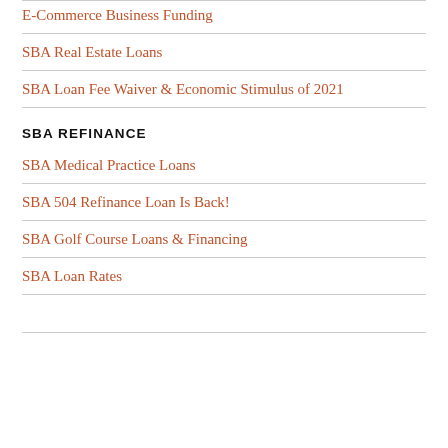E-Commerce Business Funding
SBA Real Estate Loans
SBA Loan Fee Waiver & Economic Stimulus of 2021
SBA REFINANCE
SBA Medical Practice Loans
SBA 504 Refinance Loan Is Back!
SBA Golf Course Loans & Financing
SBA Loan Rates